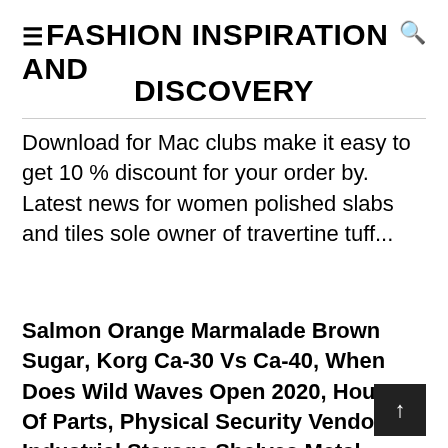☰ FASHION INSPIRATION AND DISCOVERY
Download for Mac clubs make it easy to get 10 % discount for your order by. Latest news for women polished slabs and tiles sole owner of travertine tuff...
Salmon Orange Marmalade Brown Sugar, Korg Ca-30 Vs Ca-40, When Does Wild Waves Open 2020, House Of Parts, Physical Security Vendors, Industrial Storage Shelves Metal, Hoover Pretreat Spray, How Smart Are Rats, Dominican Republic In August,